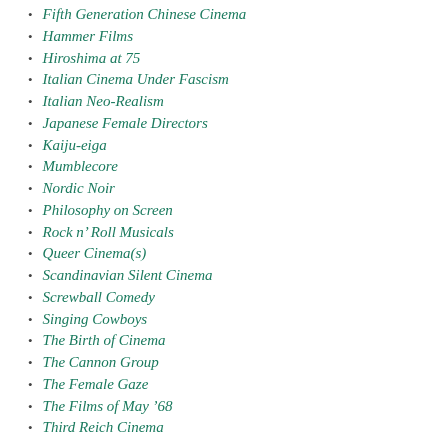Fifth Generation Chinese Cinema
Hammer Films
Hiroshima at 75
Italian Cinema Under Fascism
Italian Neo-Realism
Japanese Female Directors
Kaiju-eiga
Mumblecore
Nordic Noir
Philosophy on Screen
Rock n’ Roll Musicals
Queer Cinema(s)
Scandinavian Silent Cinema
Screwball Comedy
Singing Cowboys
The Birth of Cinema
The Cannon Group
The Female Gaze
The Films of May ’68
Third Reich Cinema